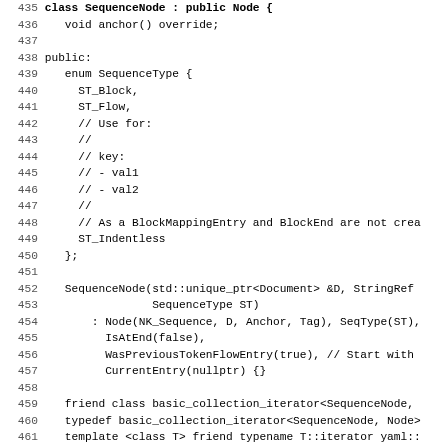[Figure (screenshot): Source code listing in C++ showing lines 435-467 of a SequenceNode class definition with line numbers on the left and code on the right. Includes enum SequenceType, constructor, friend class declarations, typedef, template declarations, and member function declarations.]